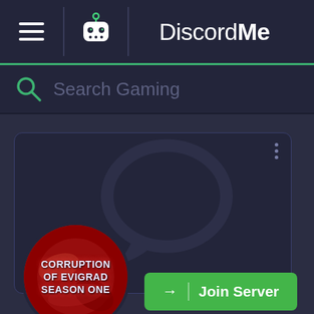DiscordMe
Search Gaming
[Figure (screenshot): Discord Me server listing card for 'Corruption of Evigrad Season One' with a red circular server icon, a three-dot menu, a chat bubble watermark, and a green Join Server button]